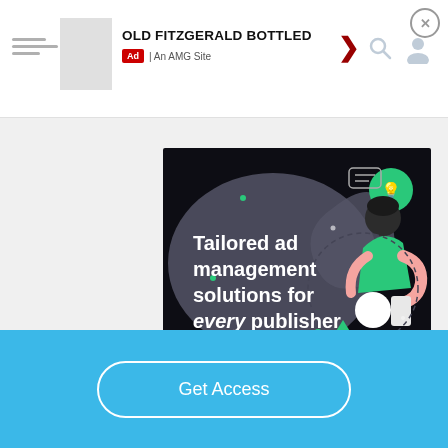OLD FITZGERALD BOTTLED | Ad | An AMG Site
[Figure (illustration): Ad banner: dark background with illustration of person holding phone and text 'Tailored ad management solutions for every publisher' with green 'LEARN MORE' button. AMG ad management promotional banner.]
Get Access